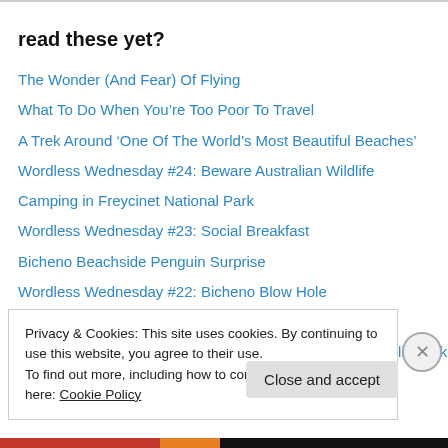read these yet?
The Wonder (And Fear) Of Flying
What To Do When You’re Too Poor To Travel
A Trek Around ‘One Of The World’s Most Beautiful Beaches’
Wordless Wednesday #24: Beware Australian Wildlife
Camping in Freycinet National Park
Wordless Wednesday #23: Social Breakfast
Bicheno Beachside Penguin Surprise
Wordless Wednesday #22: Bicheno Blow Hole
Wordless Wednesday #21: Hiking into the Unknown
Could This Be the Most Unexpected Landscape in Australia? Hiking The
Privacy & Cookies: This site uses cookies. By continuing to use this website, you agree to their use.
To find out more, including how to control cookies, see here: Cookie Policy